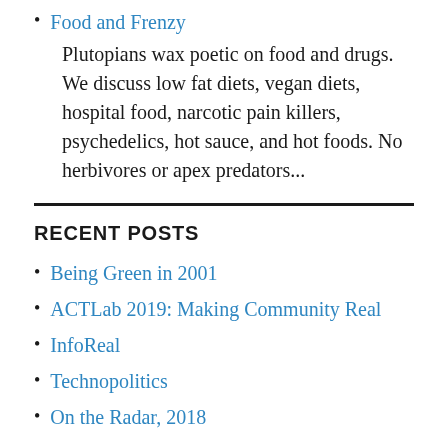Food and Frenzy
Plutopians wax poetic on food and drugs. We discuss low fat diets, vegan diets, hospital food, narcotic pain killers, psychedelics, hot sauce, and hot foods. No herbivores or apex predators...
RECENT POSTS
Being Green in 2001
ACTLab 2019: Making Community Real
InfoReal
Technopolitics
On the Radar, 2018